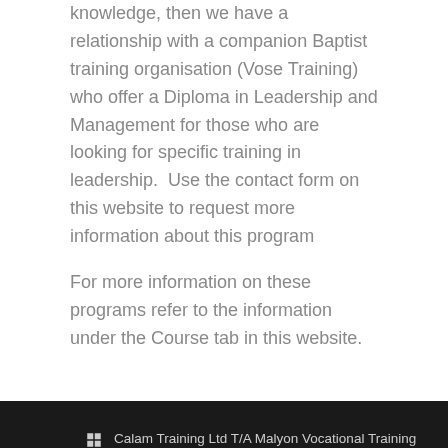knowledge, then we have a relationship with a companion Baptist training organisation (Vose Training) who offer a Diploma in Leadership and Management for those who are looking for specific training in leadership.  Use the contact form on this website to request more information about this program
For more information on these programs refer to the information under the Course tab in this website.
Calam Training Ltd T/A Malyon Vocational Training
ASQA RTO # 30002
2/53 Prospect Rd, GAYTHORNE, Qld 4051
mvt@malyon.edu.au
07 3354 5656